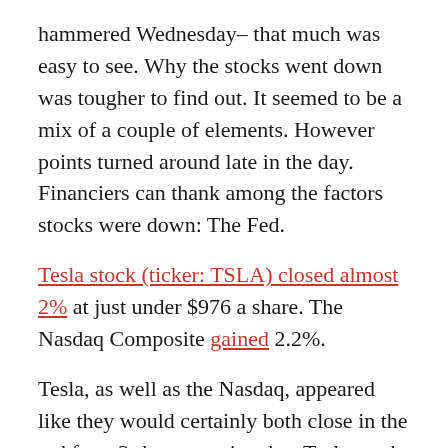hammered Wednesday– that much was easy to see. Why the stocks went down was tougher to find out. It seemed to be a mix of a couple of elements. However points turned around late in the day. Financiers can thank among the factors stocks were down: The Fed.
Tesla stock (ticker: TSLA) closed almost 2% at just under $976 a share. The Nasdaq Composite gained 2.2%.
Tesla, as well as the Nasdaq, appeared like they would certainly both close in the red for a 3rd consecutive day. Tesla stock was down 2% in Wednesday mid-day trading, dropping below $940 a share. Shares got on speed for its worst close since October.